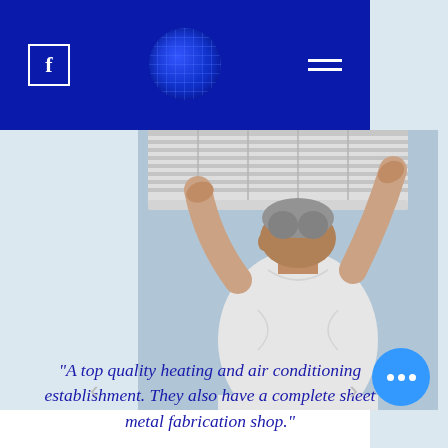Facebook icon | Logo | Menu
[Figure (photo): A technician in a white t-shirt seen from behind, reaching up to service/install a wall-mounted air conditioning unit on a light blue wall.]
"A top quality heating and air conditioning establishment. They also have a complete sheet metal fabrication shop."